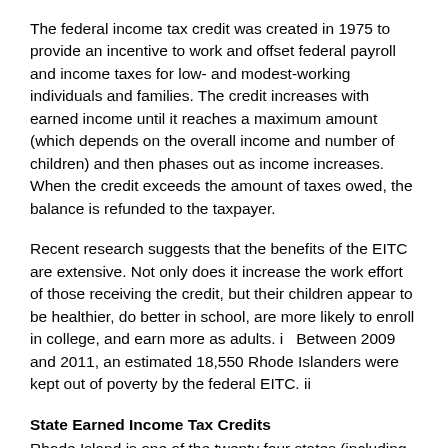The federal income tax credit was created in 1975 to provide an incentive to work and offset federal payroll and income taxes for low- and modest-working individuals and families. The credit increases with earned income until it reaches a maximum amount (which depends on the overall income and number of children) and then phases out as income increases. When the credit exceeds the amount of taxes owed, the balance is refunded to the taxpayer.
Recent research suggests that the benefits of the EITC are extensive. Not only does it increase the work effort of those receiving the credit, but their children appear to be healthier, do better in school, are more likely to enroll in college, and earn more as adults. i   Between 2009 and 2011, an estimated 18,550 Rhode Islanders were kept out of poverty by the federal EITC. ii
State Earned Income Tax Credits
Rhode Island is one of the twenty four states (including the District of Columbia) that offer their own EITC, but unlike most states, the Ocean State's credit is only partially refundable. Under the current state law, low-income taxpayers with jobs in Rhode Island can receive a credit worth 25 percent of the